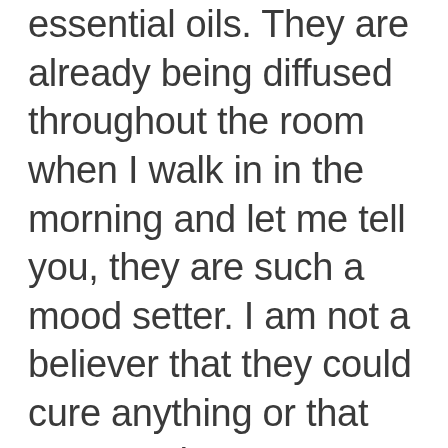essential oils. They are already being diffused throughout the room when I walk in in the morning and let me tell you, they are such a mood setter. I am not a believer that they could cure anything or that you use them as vaccine replacements, but they smell damn good. I am a stickler for things smelling good, so much so that I change clothes after cooking anything to avoid not smelling like laundry and good things. These are different from other oils I have tried because they aren't tied to an MLM scam and they